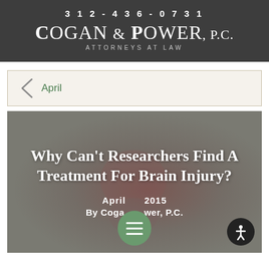312-436-0731 COGAN & POWER, P.C. ATTORNEYS AT LAW
April
Why Can't Researchers Find A Treatment For Brain Injury?
April 2015 By Cogan & Power, P.C.